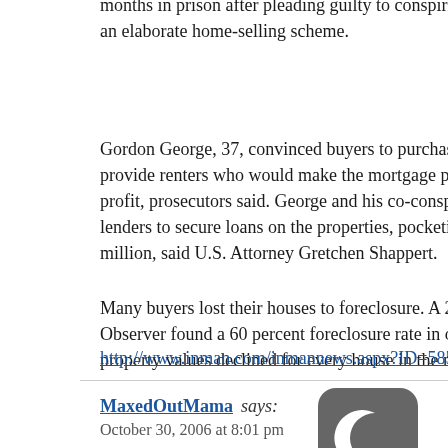months in prison after pleading guilty to conspiring to an elaborate home-selling scheme.
Gordon George, 37, convinced buyers to purchase homes, provide renters who would make the mortgage payments at a profit, prosecutors said. George and his co-conspirators lenders to secure loans on the properties, pocketing excess million, said U.S. Attorney Gretchen Shappert.
Many buyers lost their houses to foreclosure. A 2003 investigation by the Observer found a 60 percent foreclosure rate in one subdivision, and property values declined for every house in the neighborhood.
http://www.inman.com/inmannews.aspx?ID=58500
MaxedOutMama says:
October 30, 2006 at 8:01 pm
[Figure (logo): Dark gray rounded square icon with white crescent moon symbol]